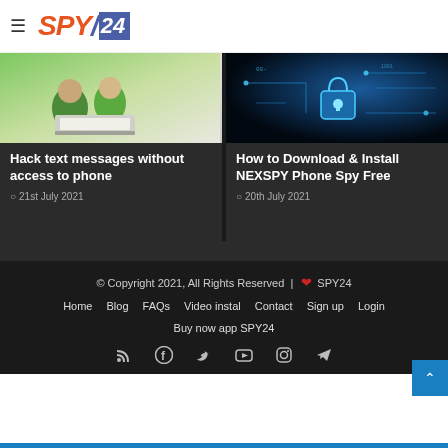SPY24 logo and navigation hamburger menu
[Figure (photo): Two children looking at a laptop computer, smiling]
Hack text messages without access to phone
21st July 2021
[Figure (photo): Dark blue circuit board with glowing padlock security icon]
How to Download & Install NEXSPY Phone Spy Free
20th July 2021
© Copyright 2021, All Rights Reserved | ❤ SPY24
Home  Blog  FAQs  Video instal  Contact  Sign up  Login
Buy now app SPY24